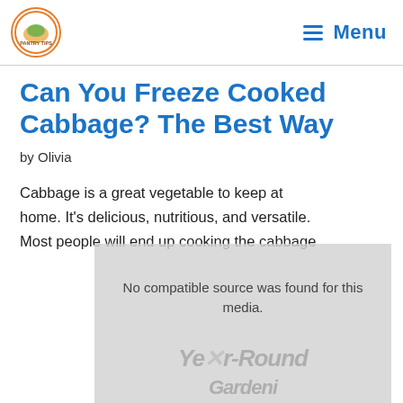PANTRY TIPS | Menu
Can You Freeze Cooked Cabbage? The Best Way
by Olivia
Cabbage is a great vegetable to keep at home. It's delicious, nutritious, and versatile. Most people will end up cooking the cabbage
[Figure (other): Video media player overlay showing 'No compatible source was found for this media.' with a watermark text reading 'Year-Round Gardeni...' partially visible]